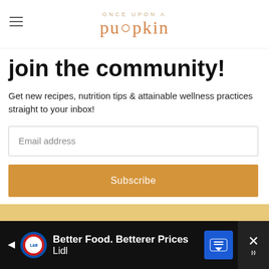ONCE UPON A pumpkin
join the community!
Get new recipes, nutrition tips & attainable wellness practices straight to your inbox!
Email address
Subscribe
[Figure (screenshot): Orange/golden image strip at bottom of content area]
Better Food. Betterer Prices Lidl